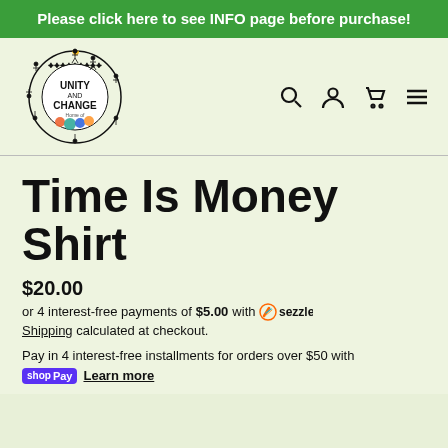Please click here to see INFO page before purchase!
[Figure (logo): Unity and Change circular logo with people holding hands around border and colorful design in center]
Time Is Money Shirt
$20.00
or 4 interest-free payments of $5.00 with Sezzle
Shipping calculated at checkout.
Pay in 4 interest-free installments for orders over $50 with
shop Pay  Learn more